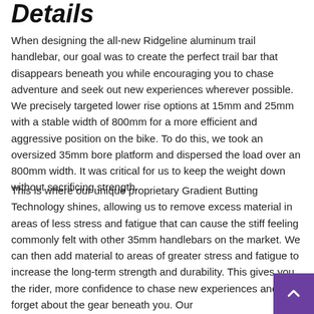Details
When designing the all-new Ridgeline aluminum trail handlebar, our goal was to create the perfect trail bar that disappears beneath you while encouraging you to chase adventure and seek out new experiences wherever possible. We precisely targeted lower rise options at 15mm and 25mm with a stable width of 800mm for a more efficient and aggressive position on the bike. To do this, we took an oversized 35mm bore platform and dispersed the load over an 800mm width. It was critical for us to keep the weight down without sacrificing strength.
This is where our unique proprietary Gradient Butting Technology shines, allowing us to remove excess material in areas of less stress and fatigue that can cause the stiff feeling commonly felt with other 35mm handlebars on the market. We can then add material to areas of greater stress and fatigue to increase the long-term strength and durability. This gives you, the rider, more confidence to chase new experiences and forget about the gear beneath you. Our